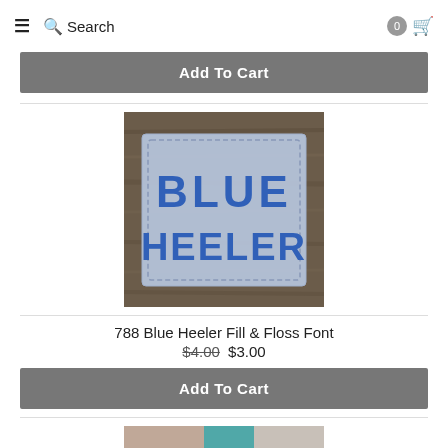≡ 🔍 Search  0 🛒
Add To Cart
[Figure (photo): Embroidered patch on wood background with text BLUE HEELER in blue bubble letters on a light blue fabric patch]
788 Blue Heeler Fill & Floss Font
$4.00 $3.00
Add To Cart
[Figure (photo): Partial view of another product image at the bottom of the page]